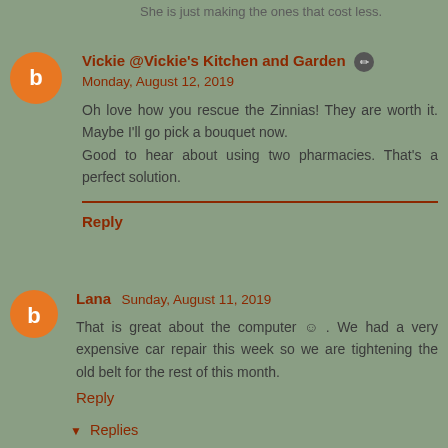She is just making the ones that cost less.
Vickie @Vickie's Kitchen and Garden
Monday, August 12, 2019
Oh love how you rescue the Zinnias! They are worth it. Maybe I'll go pick a bouquet now. Good to hear about using two pharmacies. That's a perfect solution.
Reply
Lana  Sunday, August 11, 2019
That is great about the computer © . We had a very expensive car repair this week so we are tightening the old belt for the rest of this month.
Reply
Replies